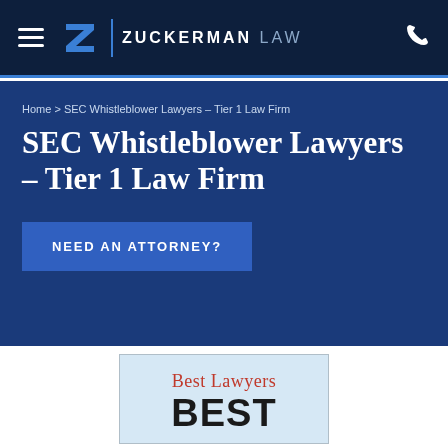[Figure (logo): Zuckerman Law logo with hamburger menu and phone icon on dark navy header]
Home > SEC Whistleblower Lawyers – Tier 1 Law Firm
SEC Whistleblower Lawyers – Tier 1 Law Firm
NEED AN ATTORNEY?
[Figure (logo): Best Lawyers BEST award badge on light blue background]